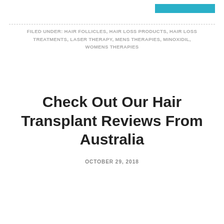FILED UNDER: HAIR FOLLICLES, HAIR LOSS PRODUCTS, HAIR LOSS TREATMENTS, LASER THERAPY, MENS THERAPIES, MINOXIDIL, WOMENS THERAPIES
Check Out Our Hair Transplant Reviews From Australia
OCTOBER 29, 2018